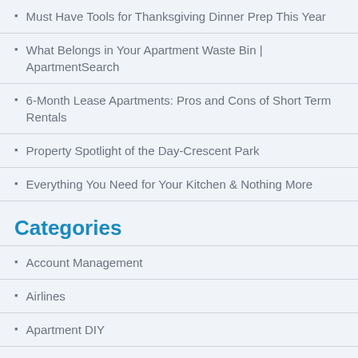Must Have Tools for Thanksgiving Dinner Prep This Year
What Belongs in Your Apartment Waste Bin | ApartmentSearch
6-Month Lease Apartments: Pros and Cons of Short Term Rentals
Property Spotlight of the Day-Crescent Park
Everything You Need for Your Kitchen & Nothing More
Categories
Account Management
Airlines
Apartment DIY
Apartment Hunting